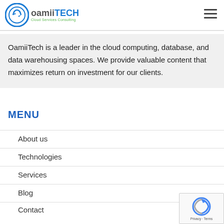OamiiTECH Cloud Services Consulting [logo] [hamburger menu]
OamiiTech is a leader in the cloud computing, database, and data warehousing spaces. We provide valuable content that maximizes return on investment for our clients.
MENU
About us
Technologies
Services
Blog
Contact
[Figure (logo): reCAPTCHA privacy badge with spinning arrow logo, 'Privacy - Terms' text]